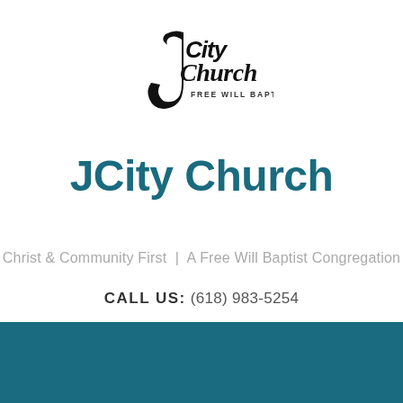[Figure (logo): JCity Church Free Will Baptist logo in black script/sans serif font with a stylized J shape]
JCity Church
Christ & Community First | A Free Will Baptist Congregation
CALL US: (618) 983-5254